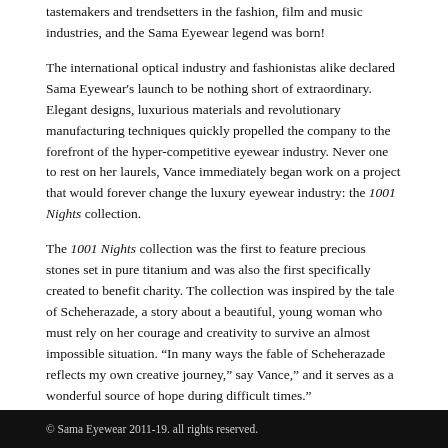tastemakers and trendsetters in the fashion, film and music industries, and the Sama Eyewear legend was born!
The international optical industry and fashionistas alike declared Sama Eyewear's launch to be nothing short of extraordinary. Elegant designs, luxurious materials and revolutionary manufacturing techniques quickly propelled the company to the forefront of the hyper-competitive eyewear industry. Never one to rest on her laurels, Vance immediately began work on a project that would forever change the luxury eyewear industry: the 1001 Nights collection.
The 1001 Nights collection was the first to feature precious stones set in pure titanium and was also the first specifically created to benefit charity. The collection was inspired by the tale of Scheherazade, a story about a beautiful, young woman who must rely on her courage and creativity to survive an almost impossible situation. “In many ways the fable of Scheherazade reflects my own creative journey,” say Vance,” and it serves as a wonderful source of hope during difficult times.”
Embracing fresh creative challenges, each of Vance’s collections serves a specific fashion purpose: “Sama introduced fashion etiquette to luxury eyewear; 1001 Nights and Visionnaires were about hope, inspiration and giving; Kenta brought a strong, masculine sensibility to men’s luxury eyewear; Go and Line3 infused the Sama essence into extremely modern styles; Loree Rodkin Eye Couture by Sama
© Sama Eyewear 2011-19. all rights reserved.